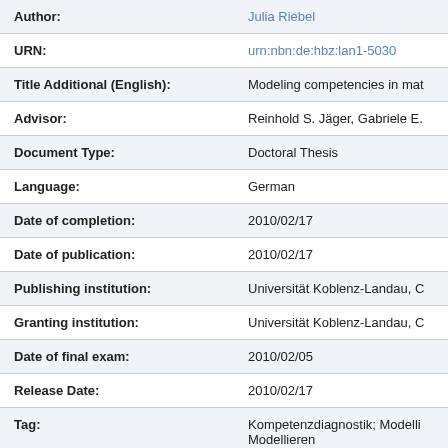| Field | Value |
| --- | --- |
| Author: | Julia Riebel |
| URN: | urn:nbn:de:hbz:lan1-5030 |
| Title Additional (English): | Modeling competencies in mat |
| Advisor: | Reinhold S. Jäger, Gabriele E. |
| Document Type: | Doctoral Thesis |
| Language: | German |
| Date of completion: | 2010/02/17 |
| Date of publication: | 2010/02/17 |
| Publishing institution: | Universität Koblenz-Landau, C |
| Granting institution: | Universität Koblenz-Landau, C |
| Date of final exam: | 2010/02/05 |
| Release Date: | 2010/02/17 |
| Tag: | Kompetenzdiagnostik; Modelli
Modellieren
assessment; mathematical mo |
| GND Keyword: | Diagnostik; Kompetenz; Model |
| Number of pages: | 244 |
| Institutes: | Fachbereich 8 / Arbeitsbereich |